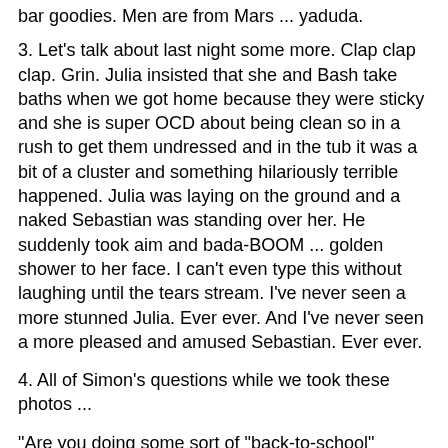bar goodies. Men are from Mars ... yaduda.
3. Let's talk about last night some more. Clap clap clap. Grin. Julia insisted that she and Bash take baths when we got home because they were sticky and she is super OCD about being clean so in a rush to get them undressed and in the tub it was a bit of a cluster and something hilariously terrible happened. Julia was laying on the ground and a naked Sebastian was standing over her. He suddenly took aim and bada-BOOM ... golden shower to her face. I can't even type this without laughing until the tears stream. I've never seen a more stunned Julia. Ever ever. And I've never seen a more pleased and amused Sebastian. Ever ever.
4. All of Simon's questions while we took these photos ...
"Are you doing some sort of "back-to-school" uniform theme?"
"Is Theo wearing Fubu jeans?"
"Do you think people like these posts with pictures of your outfit?"